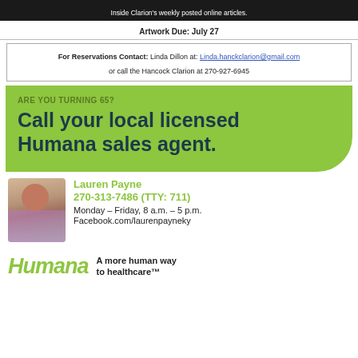Inside Clarion's weekly posted online articles.
Artwork Due: July 27
For Reservations Contact: Linda Dillon at: Linda.hanckclarion@gmail.com or call the Hancock Clarion at 270-927-6945
ARE YOU TURNING 65?
Call your local licensed Humana sales agent.
[Figure (photo): Headshot of Lauren Payne, a woman smiling, with floral clothing and plants in background]
Lauren Payne
270-313-7486 (TTY: 711)
Monday – Friday, 8 a.m. – 5 p.m.
Facebook.com/laurenpayneky
Humana   A more human way to healthcare™